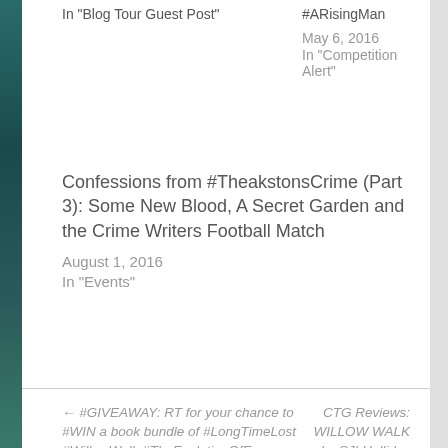In "Blog Tour Guest Post"
#ARisingMan
May 6, 2016
In "Competition Alert"
Confessions from #TheakstonsCrime (Part 3): Some New Blood, A Secret Garden and the Crime Writers Football Match
August 1, 2016
In "Events"
← #GIVEAWAY: RT for your chance to #WIN a book bundle of #LongTimeLost #WillowWalk #TheEvolutionOfFear
CTG Reviews: WILLOW WALK by SJI Holliday →